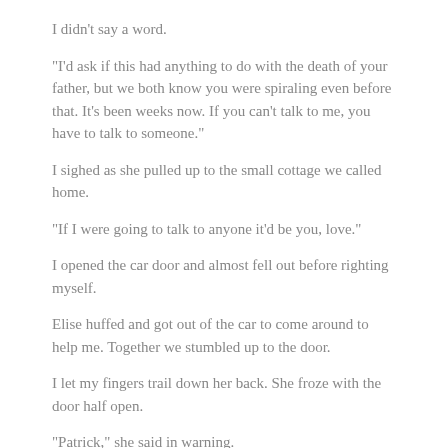I didn't say a word.
“I'd ask if this had anything to do with the death of your father, but we both know you were spiraling even before that. It’s been weeks now. If you can’t talk to me, you have to talk to someone.”
I sighed as she pulled up to the small cottage we called home.
“If I were going to talk to anyone it’d be you, love.”
I opened the car door and almost fell out before righting myself.
Elise huffed and got out of the car to come around to help me. Together we stumbled up to the door.
I let my fingers trail down her back. She froze with the door half open.
“Patrick,” she said in warning.